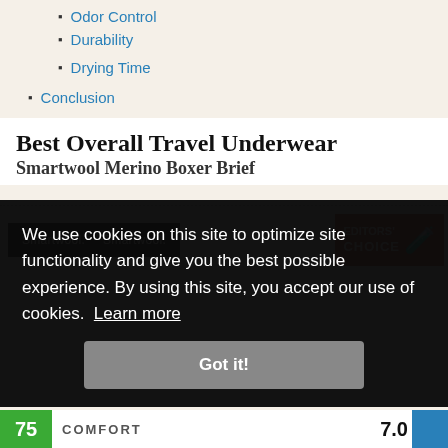Odor Control
Durability
Drying Time
Conclusion
Best Overall Travel Underwear
Smartwool Merino Boxer Brief
[Figure (photo): Smartwool product banner and Editors' Choice badge with flask icon]
We use cookies on this site to optimize site functionality and give you the best possible experience. By using this site, you accept our use of cookies. Learn more
Got it!
COMFORT 7.0